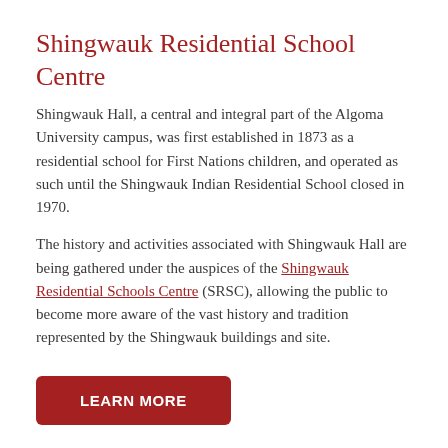Shingwauk Residential School Centre
Shingwauk Hall, a central and integral part of the Algoma University campus, was first established in 1873 as a residential school for First Nations children, and operated as such until the Shingwauk Indian Residential School closed in 1970.
The history and activities associated with Shingwauk Hall are being gathered under the auspices of the Shingwauk Residential Schools Centre (SRSC), allowing the public to become more aware of the vast history and tradition represented by the Shingwauk buildings and site.
LEARN MORE